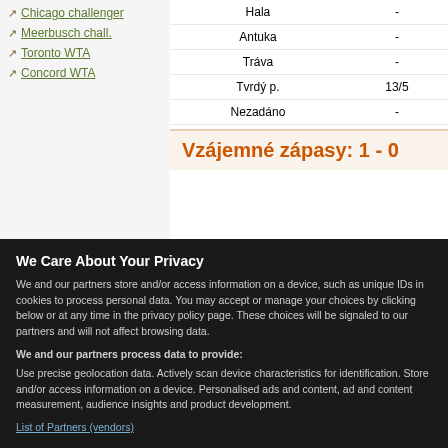Chicago challenger
Meerbusch chall.
Toronto WTA
Concord WTA
|  |  |
| --- | --- |
| Hala | - |
| Antuka | - |
| Tráva | - |
| Tvrdý p. | 13/5 |
| Nezadáno | - |
Vzájemné zápasy: 1 - 0
| Rok | Turnaj | Zápas |
| --- | --- | --- |
| 2022 | UTR Pro Match Series | McCray
Gyuro |
Kursy sázkových kanceláří
We Care About Your Privacy
We and our partners store and/or access information on a device, such as unique IDs in cookies to process personal data. You may accept or manage your choices by clicking below or at any time in the privacy policy page. These choices will be signaled to our partners and will not affect browsing data.
We and our partners process data to provide:
Use precise geolocation data. Actively scan device characteristics for identification. Store and/or access information on a device. Personalised ads and content, ad and content measurement, audience insights and product development.
List of Partners (vendors)